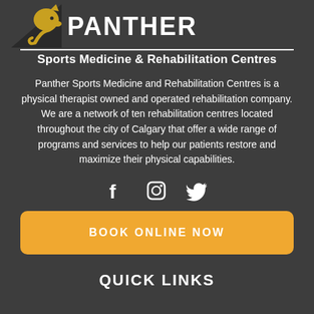[Figure (logo): Panther Sports Medicine logo with panther head illustration and PANTHER text]
Sports Medicine & Rehabilitation Centres
Panther Sports Medicine and Rehabilitation Centres is a physical therapist owned and operated rehabilitation company. We are a network of ten rehabilitation centres located throughout the city of Calgary that offer a wide range of programs and services to help our patients restore and maximize their physical capabilities.
[Figure (infographic): Social media icons: Facebook, Instagram, Twitter]
BOOK ONLINE NOW
QUICK LINKS